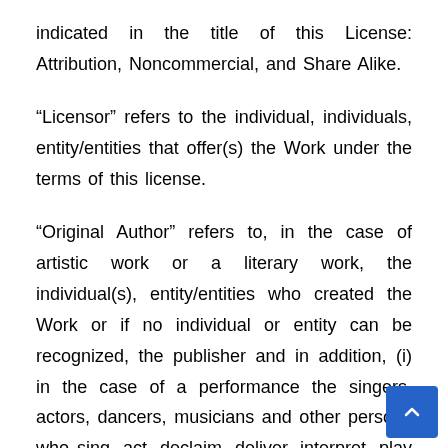indicated in the title of this License: Attribution, Noncommercial, and Share Alike.
“Licensor” refers to the individual, individuals, entity/entities that offer(s) the Work under the terms of this license.
“Original Author” refers to, in the case of artistic work or a literary work, the individual(s), entity/entities who created the Work or if no individual or entity can be recognized, the publisher and in addition, (i) in the case of a performance the singers, actors, dancers, musicians and other persons who sing, act, declaim, deliver, interpret, play in or otherwise perform artistic works or literary works or expressions of folklore; (ii) In case of a phonogram, the producer being the